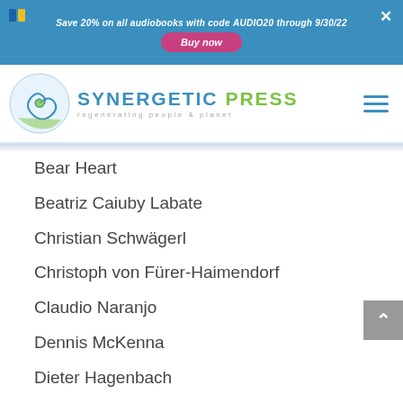Save 20% on all audiobooks with code AUDIO20 through 9/30/22
[Figure (logo): Synergetic Press logo with circular nautilus shell icon, text reading SYNERGETIC PRESS regenerating people & planet]
Bear Heart
Beatriz Caiuby Labate
Christian Schwägerl
Christoph von Fürer-Haimendorf
Claudio Naranjo
Dennis McKenna
Dieter Hagenbach
Don Lattin
Ernest J. Eitel
Gerald Wilde